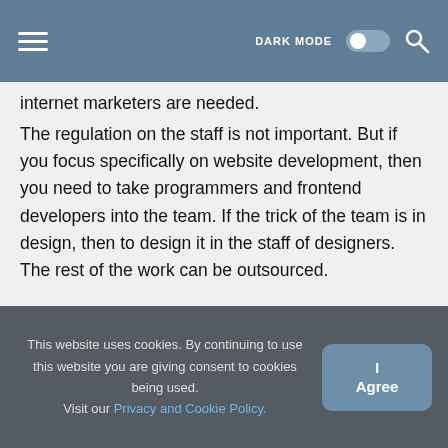DARK MODE [toggle] [search]
internet marketers are needed.
The regulation on the staff is not important. But if you focus specifically on website development, then you need to take programmers and frontend developers into the team. If the trick of the team is in design, then to design it in the staff of designers. The rest of the work can be outsourced.
This website uses cookies. By continuing to use this website you are giving consent to cookies being used. Visit our Privacy and Cookie Policy. | I Agree